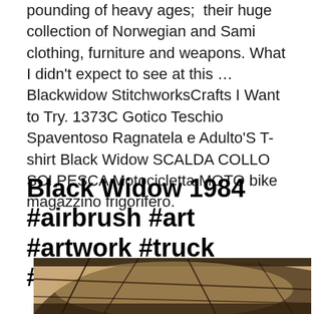pounding of heavy ages;  their huge collection of Norwegian and Sami clothing, furniture and weapons. What I didn't expect to see at this … Blackwidow StitchworksCrafts I Want to Try. 1373C Gotico Teschio Spaventoso Ragnatela e Adulto'S T-shirt Black Widow SCALDA COLLO SCI PESCA Motocicletta MOTO bike magazzino frigorifero.
Black Widow 1984 #airbrush #art #artwork #truck #trucking
[Figure (photo): Sepia-toned photograph taken from below looking up inside what appears to be a large curved structure or vehicle, with metallic framework, cables and structural beams visible against a warm brown/amber toned background.]